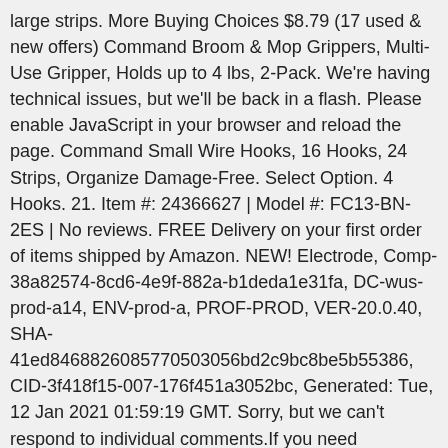large strips. More Buying Choices $8.79 (17 used & new offers) Command Broom & Mop Grippers, Multi-Use Gripper, Holds up to 4 lbs, 2-Pack. We're having technical issues, but we'll be back in a flash. Please enable JavaScript in your browser and reload the page. Command Small Wire Hooks, 16 Hooks, 24 Strips, Organize Damage-Free. Select Option. 4 Hooks. 21. Item #: 24366627 | Model #: FC13-BN-2ES | No reviews. FREE Delivery on your first order of items shipped by Amazon. NEW! Electrode, Comp-38a82574-8cd6-4e9f-882a-b1deda1e31fa, DC-wus-prod-a14, ENV-prod-a, PROF-PROD, VER-20.0.40, SHA-41ed8468826085770503056bd2c9bc8be5b55386, CID-3f418f15-007-176f451a3052bc, Generated: Tue, 12 Jan 2021 01:59:19 GMT. Sorry, but we can't respond to individual comments.If you need immediate assistance, please contact Customer Care. 4.7 out of 5 stars 12,366. Yet, they also come off cleanly no holes, marks, sticky residue or stains so you can take down and move your Command™ hooks as often as you like. NextDay delivery. Check out our range available at Bunnings today. FREE Shipping on orders over $25 shipped by Amazon. Product description Size :2 Hooks | Color